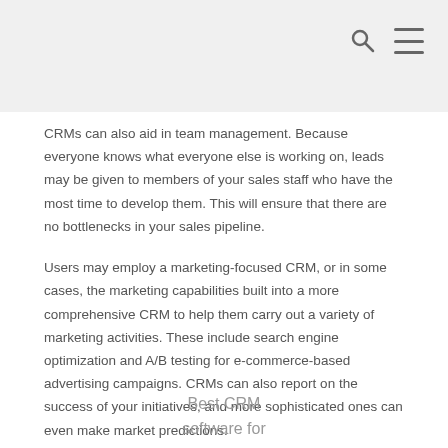CRMs can also aid in team management. Because everyone knows what everyone else is working on, leads may be given to members of your sales staff who have the most time to develop them. This will ensure that there are no bottlenecks in your sales pipeline.
Users may employ a marketing-focused CRM, or in some cases, the marketing capabilities built into a more comprehensive CRM to help them carry out a variety of marketing activities. These include search engine optimization and A/B testing for e-commerce-based advertising campaigns. CRMs can also report on the success of your initiatives, and more sophisticated ones can even make market predictions.
Best CRM software for